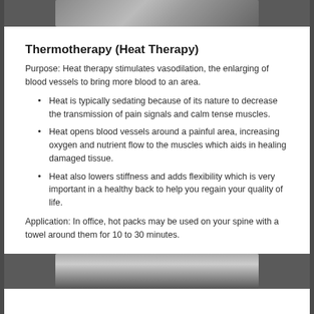[Figure (photo): Partial photo at top of page showing a person, partially cropped]
Thermotherapy (Heat Therapy)
Purpose: Heat therapy stimulates vasodilation, the enlarging of blood vessels to bring more blood to an area.
Heat is typically sedating because of its nature to decrease the transmission of pain signals and calm tense muscles.
Heat opens blood vessels around a painful area, increasing oxygen and nutrient flow to the muscles which aids in healing damaged tissue.
Heat also lowers stiffness and adds flexibility which is very important in a healthy back to help you regain your quality of life.
Application: In office, hot packs may be used on your spine with a towel around them for 10 to 30 minutes.
[Figure (photo): Partial photo at bottom of page showing what appears to be a heat pack application, partially cropped]